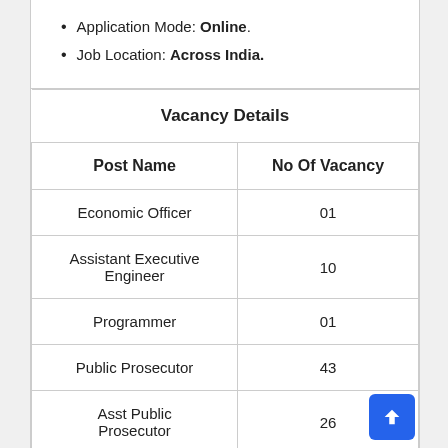Application Mode: Online.
Job Location: Across India.
| Post Name | No Of Vacancy |
| --- | --- |
| Economic Officer | 01 |
| Assistant Executive Engineer | 10 |
| Programmer | 01 |
| Public Prosecutor | 43 |
| Asst Public Prosecutor | 26 |